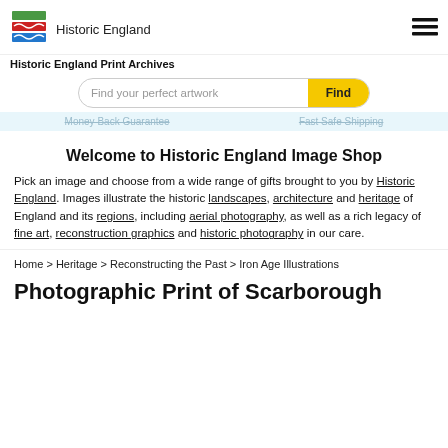Historic England | Historic England Print Archives
[Figure (logo): Historic England logo with red, green, and blue wave stripes]
Money Back Guarantee   Fast Safe Shipping
Welcome to Historic England Image Shop
Pick an image and choose from a wide range of gifts brought to you by Historic England. Images illustrate the historic landscapes, architecture and heritage of England and its regions, including aerial photography, as well as a rich legacy of fine art, reconstruction graphics and historic photography in our care.
Home > Heritage > Reconstructing the Past > Iron Age Illustrations
Photographic Print of Scarborough